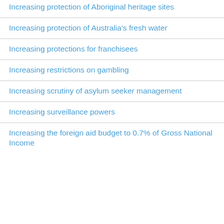Increasing protection of Aboriginal heritage sites
Increasing protection of Australia's fresh water
Increasing protections for franchisees
Increasing restrictions on gambling
Increasing scrutiny of asylum seeker management
Increasing surveillance powers
Increasing the foreign aid budget to 0.7% of Gross National Income